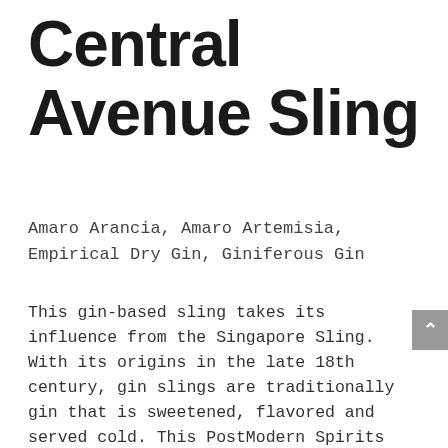Central Avenue Sling
Amaro Arancia, Amaro Artemisia, Empirical Dry Gin, Giniferous Gin
This gin-based sling takes its influence from the Singapore Sling. With its origins in the late 18th century, gin slings are traditionally gin that is sweetened, flavored and served cold. This PostModern Spirits version features a split base of 2 gins – the Citrus-Forward Giniferous & the Stronger, more Juniper-Forward Empirical, and 2 amari – the Orange-centric Amaro Arancia & the wormwood